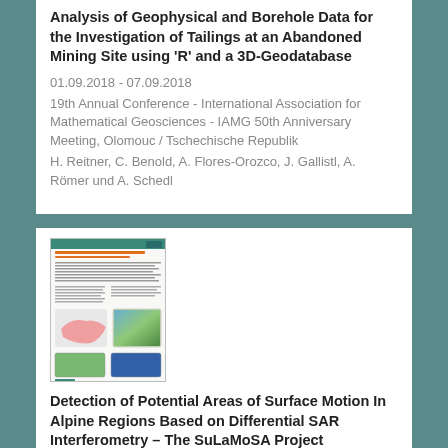Analysis of Geophysical and Borehole Data for the Investigation of Tailings at an Abandoned Mining Site using 'R' and a 3D-Geodatabase
01.09.2018 - 07.09.2018
19th Annual Conference - International Association for Mathematical Geosciences - IAMG 50th Anniversary Meeting, Olomouc / Tschechische Republik
H. Reitner, C. Benold, A. Flores-Orozco, J. Gallistl, A. Römer und A. Schedl
[Figure (other): Thumbnail image of a scientific poster about Detection of Potential Areas of Surface Motion in Alpine Regions, showing maps of Austria and topographic/SAR data visualizations]
Detection of Potential Areas of Surface Motion In Alpine Regions Based on Differential SAR Interferometry – The SuLaMoSA Project
26.06.2018 - 28.06.2018